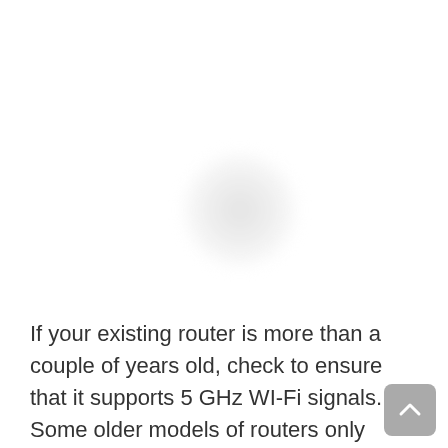[Figure (photo): A mostly white image with a faint blurred circular shape in the center, likely a heavily faded or overexposed photograph.]
If your existing router is more than a couple of years old, check to ensure that it supports 5 GHz WI-Fi signals. Some older models of routers only support 2.4GHz signals, which will make your